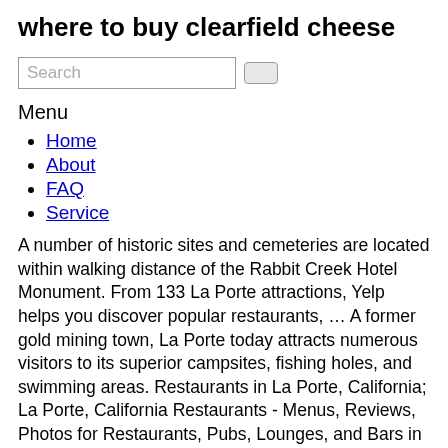where to buy clearfield cheese
Search
Menu
Home
About
FAQ
Service
A number of historic sites and cemeteries are located within walking distance of the Rabbit Creek Hotel Monument. From 133 La Porte attractions, Yelp helps you discover popular restaurants, … A former gold mining town, La Porte today attracts numerous visitors to its superior campsites, fishing holes, and swimming areas. Restaurants in La Porte, California; La Porte, California Restaurants - Menus, Reviews, Photos for Restaurants, Pubs, Lounges, and Bars in La Porte, California. There are 4 real estate listings found in La Porte, CA.View our La Porte real estate area information to learn about the weather, local school districts, demographic data, and general information about La Porte, CA. Air quality and pollution data is derived from the EPA (United States Environmental Protection Agency). Access 1 trusted